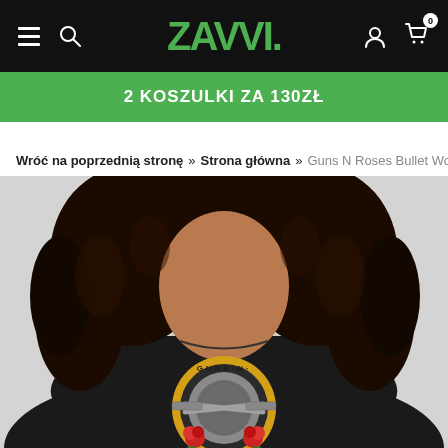ZAVVI. navigation bar with hamburger menu, search, logo, account and cart icons
2 KOSZULKI ZA 130ZŁ
Wróć na poprzednią stronę » Strona główna » Guns N Roses Bullet Women's T
[Figure (photo): Woman wearing a black Guns N Roses Bullet t-shirt with the iconic circular logo featuring guns and roses]